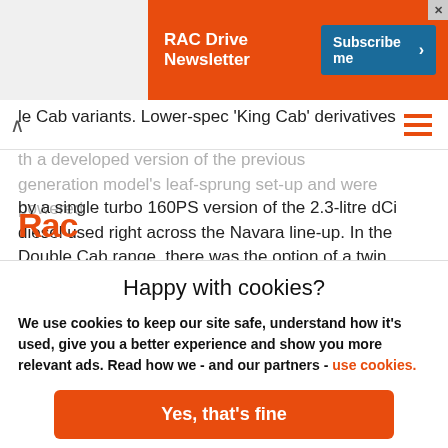[Figure (screenshot): RAC Drive Newsletter ad banner with orange background, white bold text 'RAC Drive Newsletter' on left, dark blue 'Subscribe me >' button on right, and X close icon top-right]
le Cab variants. Lower-spec 'King Cab' derivatives
[Figure (logo): RAC logo in orange on white navigation bar with hamburger menu icon]
th a developed version of the previous generation model's leaf-sprung set-up and were powered by a single turbo 160PS version of the 2.3-litre dCi diesel used right across the Navara line-up. In the Double Cab range, there was the option of a twin turbo 190PS
Happy with cookies?
We use cookies to keep our site safe, understand how it's used, give you a better experience and show you more relevant ads. Read how we - and our partners - use cookies.